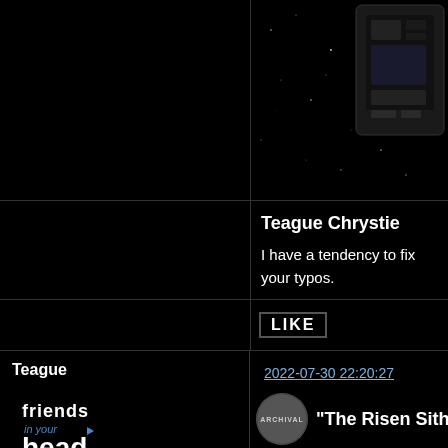[Figure (screenshot): Dark/black cell top-left area, part of forum layout]
[Figure (screenshot): Star Wars themed image with starfield and partial view of dark sci-fi device/screen, top-right cell]
Teague Chrystie
I have a tendency to fix your typos.
LIKE
Teague
[Figure (logo): friends in your head logo - stylized text logo]
Administrator
Offline
Registered: 2009-11-07
2022-07-30 22:20:27
[Figure (screenshot): Archival circle logo with text 'The Risen Sith' and Star Wars themed background image with STAR text/logo at bottom right]